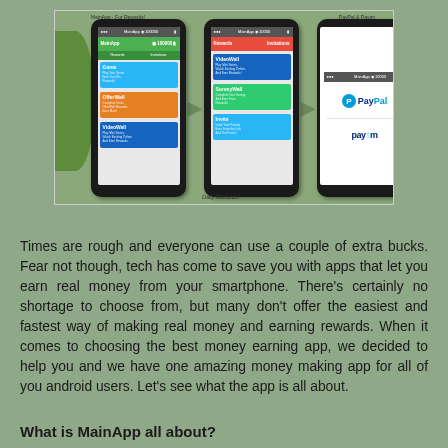[Figure (screenshot): Three smartphone screenshots showing the MainApp interface: left phone shows Game, OfferWall, and VideoWall menu items; middle phone shows VideoWall, SurveyWall, and Invite sections with label 'Daily Rewards!'; right phone shows PayPal and Paytm payment logos. Labeled 'MainApp - For Rewards!' on left and 'PayPal & Paytm' on right. Green decorative patches on sides.]
Times are rough and everyone can use a couple of extra bucks. Fear not though, tech has come to save you with apps that let you earn real money from your smartphone. There's certainly no shortage to choose from, but many don't offer the easiest and fastest way of making real money and earning rewards. When it comes to choosing the best money earning app, we decided to help you and we have one amazing money making app for all of you android users. Let's see what the app is all about.
What is MainApp all about?